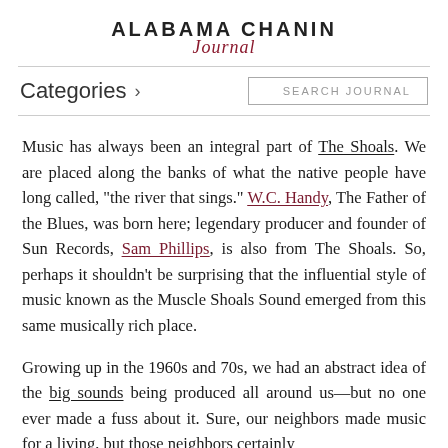ALABAMA CHANIN Journal
Categories > SEARCH JOURNAL
Music has always been an integral part of The Shoals. We are placed along the banks of what the native people have long called, “the river that sings.” W.C. Handy, The Father of the Blues, was born here; legendary producer and founder of Sun Records, Sam Phillips, is also from The Shoals. So, perhaps it shouldn’t be surprising that the influential style of music known as the Muscle Shoals Sound emerged from this same musically rich place.
Growing up in the 1960s and 70s, we had an abstract idea of the big sounds being produced all around us—but no one ever made a fuss about it. Sure, our neighbors made music for a living, but those neighbors certainly